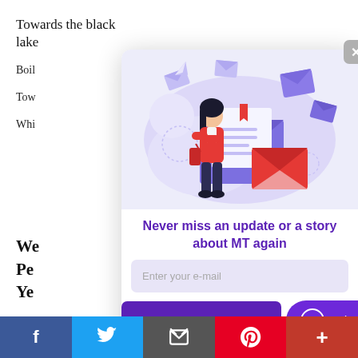Towards the black lake
Boil
Tow
Whi
[Figure (illustration): Newsletter signup modal with illustration of a woman standing next to a large open envelope with letters/emails floating around, set on a light purple cloud background. Red envelope in foreground.]
Never miss an update or a story about MT again
Enter your e-mail
Join Our Newslett
Subscribe
We Pe Ye
f  t  [email icon]  p  +